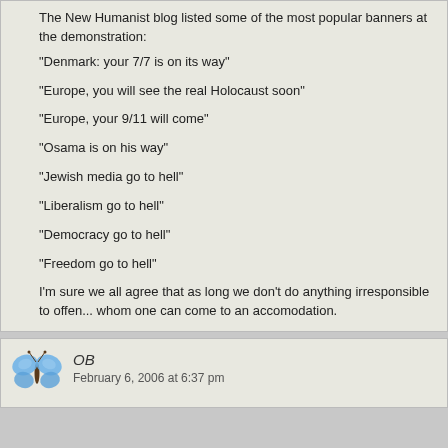The New Humanist blog listed some of the most popular banners at the demonstration:
“Denmark: your 7/7 is on its way”
“Europe, you will see the real Holocaust soon”
“Europe, your 9/11 will come”
“Osama is on his way”
“Jewish media go to hell”
“Liberalism go to hell”
“Democracy go to hell”
“Freedom go to hell”
I’m sure we all agree that as long we don’t do anything irresponsible to offen... whom one can come to an accomodation.
OB
February 6, 2006 at 6:37 pm